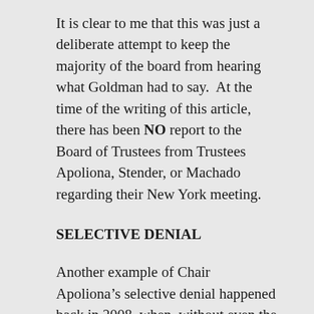It is clear to me that this was just a deliberate attempt to keep the majority of the board from hearing what Goldman had to say.  At the time of the writing of this article, there has been NO report to the Board of Trustees from Trustees Apoliona, Stender, or Machado regarding their New York meeting.
SELECTIVE DENIAL
Another example of Chair Apoliona’s selective denial happened back in 2008, when, without even the proper authority, Apoliona denied my travel to South Dakota on official business as a board member of the Governors’ Interstate Indian Council (GIIC).  I am the only non-